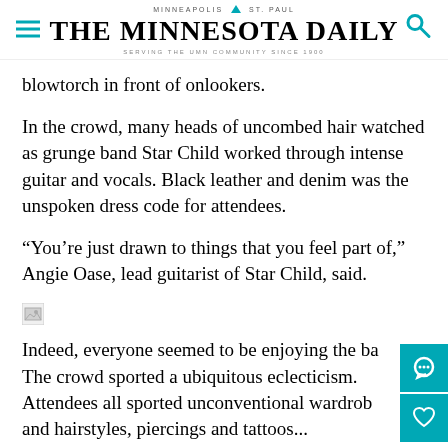MINNEAPOLIS ST. PAUL — THE MINNESOTA DAILY — SERVING THE UMN COMMUNITY SINCE 1900
blowtorch in front of onlookers.
In the crowd, many heads of uncombed hair watched as grunge band Star Child worked through intense guitar and vocals. Black leather and denim was the unspoken dress code for attendees.
“You’re just drawn to things that you feel part of,” Angie Oase, lead guitarist of Star Child, said.
[Figure (photo): Broken/loading image placeholder]
Indeed, everyone seemed to be enjoying the ba... The crowd sported a ubiquitous eclecticism. Attendees all sported unconventional wardrob... and hairstyles, piercings and tattoos...